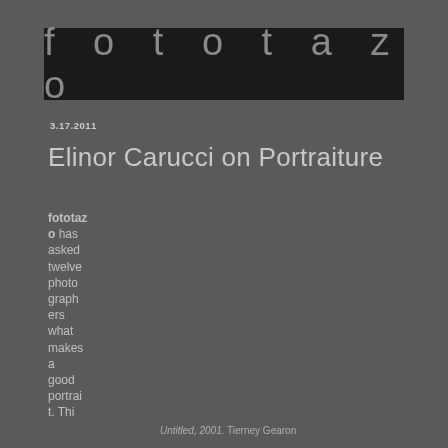fototazo
3.17.2011
Elinor Carucci on Portraiture
fototazo has asked twelve photographers what makes a good portrai t. Thi
Untitled, 2001. Tierney Gearon